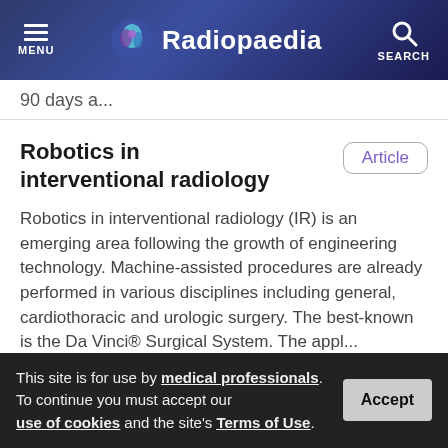MENU | Radiopaedia | SEARCH
90 days a...
Robotics in interventional radiology
Article
Robotics in interventional radiology (IR) is an emerging area following the growth of engineering technology. Machine-assisted procedures are already performed in various disciplines including general, cardiothoracic and urologic surgery. The best-known is the Da Vinci® Surgical System. The appl...
This site is for use by medical professionals. To continue you must accept our use of cookies and the site's Terms of Use.